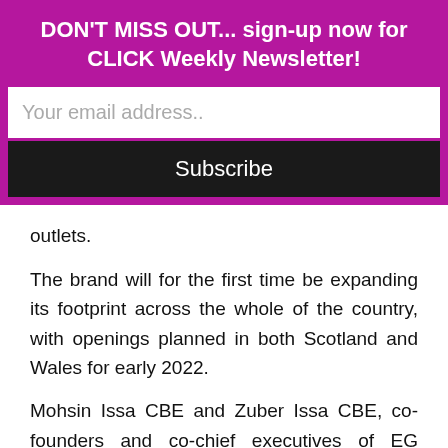DON'T MISS OUT… sign-up now for CLICK Weekly Newsletter!
[Figure (other): Email subscription form with text input field placeholder 'Your email address..' and a Subscribe button]
outlets.
The brand will for the first time be expanding its footprint across the whole of the country, with openings planned in both Scotland and Wales for early 2022.
Mohsin Issa CBE and Zuber Issa CBE, co-founders and co-chief executives of EG Group, said that when EG Group purchased LEON this year, it saw a great brand with substantial potential for growth.
“We’re pleased that the business is now set to deliver on